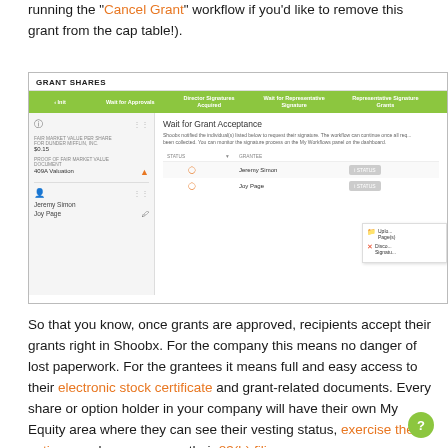running the "Cancel Grant" workflow if you'd like to remove this grant from the cap table!).
[Figure (screenshot): Screenshot of Shoobx Grant Shares workflow showing the 'Wait for Grant Acceptance' step. Left panel shows Fair Market Value Per Share for Dunder Mifflin Inc at $0.15, Proof of Fair Market Value Document as 409A Valuation with a warning icon, and grantees Jeremy Simon and Joy Page. Right panel shows STATUS and GRANTEE columns with clock icons for Jeremy Simon and Joy Page with STATUS buttons. A popup menu on the right shows Upload Pages and Discard Signature options.]
So that you know, once grants are approved, recipients accept their grants right in Shoobx. For the company this means no danger of lost paperwork. For the grantees it means full and easy access to their electronic stock certificate and grant-related documents. Every share or option holder in your company will have their own My Equity area where they can see their vesting status, exercise their options, and even prepare their 83(b) filing.